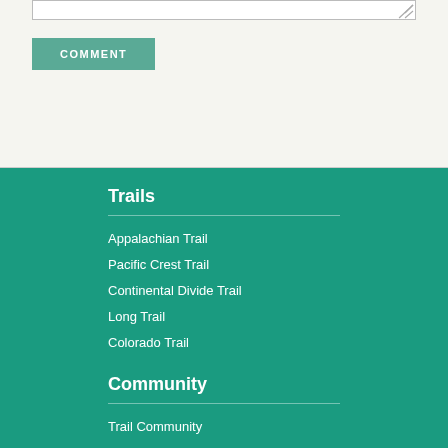[Figure (other): Text input textarea with resize handle]
COMMENT
Trails
Appalachian Trail
Pacific Crest Trail
Continental Divide Trail
Long Trail
Colorado Trail
Community
Trail Community